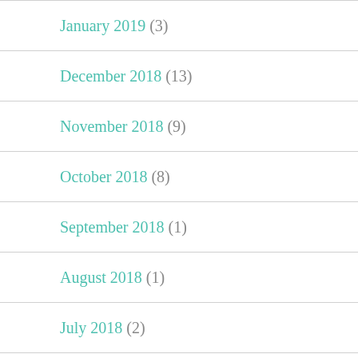January 2019 (3)
December 2018 (13)
November 2018 (9)
October 2018 (8)
September 2018 (1)
August 2018 (1)
July 2018 (2)
June 2018 (4)